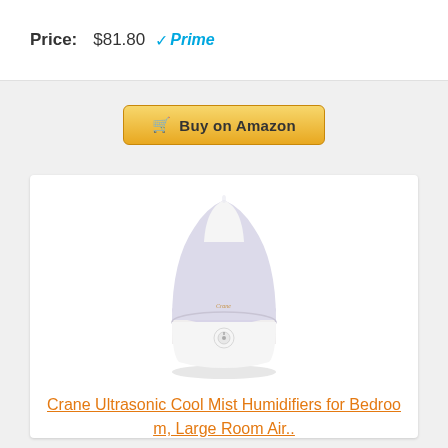Price: $81.80 Prime
Buy on Amazon
[Figure (photo): Crane Ultrasonic Cool Mist humidifier product photo — teardrop-shaped white and light purple/translucent plastic humidifier with a circular knob control at the base]
Crane Ultrasonic Cool Mist Humidifiers for Bedroom, Large Room Air..